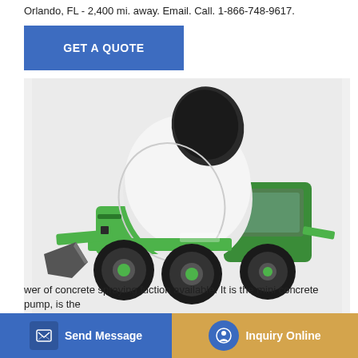Orlando, FL - 2,400 mi. away. Email. Call. 1-866-748-9617.
GET A QUOTE
[Figure (photo): Green and white self-loading concrete mixer truck with a large rotating drum and front bucket loader attachment]
Mini Concrete Pump 10m3/h- Dawin A leader In Concrete Pumping
wer of concrete spraying fuction available. It is the mini concrete pump, is the
Send Message
Inquiry Online